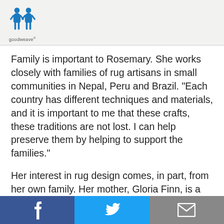goodweave
Family is important to Rosemary. She works closely with families of rug artisans in small communities in Nepal, Peru and Brazil. “Each country has different techniques and materials, and it is important to me that these crafts, these traditions are not lost. I can help preserve them by helping to support the families.”
Her interest in rug design comes, in part, from her own family. Her mother, Gloria Finn, is a well-known fiber artist, and Rosemary grew up in Beirut and London in a milieu of art and artists. Her earliest memories are of the brightness of the colors of sky, sun and water and of the textures in the archeological ruins that she explored with her mother. Bathed in that aesthetic, Rosemary turned to jewelry as a
Facebook | Twitter | Email